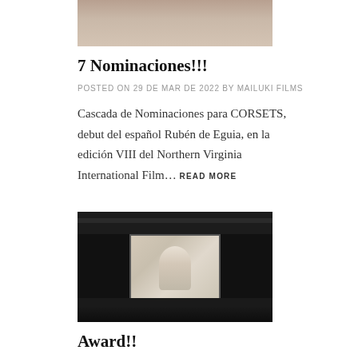[Figure (photo): Cropped close-up photo of a person's face (chin/lower face area), partially visible at the top of the page.]
7 Nominaciones!!!
POSTED ON 29 DE MAR DE 2022 BY MAILUKI FILMS
Cascada de Nominaciones para CORSETS, debut del español Rubén de Eguia, en la edición VIII del Northern Virginia International Film… READ MORE
[Figure (photo): Dark cinema auditorium with a bright projection screen showing a figure. Audience silhouettes visible in the foreground. Dark ceiling with light rigging bars visible above the screen.]
Award!!